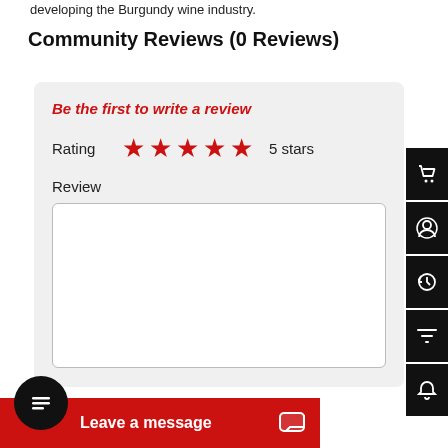developing the Burgundy wine industry.
Community Reviews (0 Reviews)
Be the first to write a review
Rating  ★★★★★  5 stars
Review
[Figure (screenshot): Empty review text area input box]
[Figure (infographic): Right sidebar with black icon buttons: shopping cart, user profile, history, filter, notification bell]
[Figure (infographic): Bottom chat widget with black circle containing lines icon and red 'Leave a message' bar with chat icon]